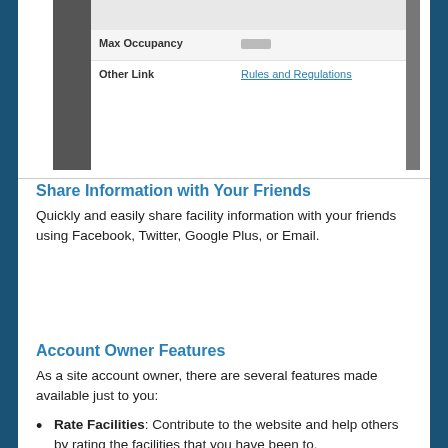[Figure (screenshot): Screenshot of a facility details panel showing rows: Max Occupancy (blurred value) and Other Link (Rules and Regulations link), with dark sidebar bars on the left and right.]
Share Information with Your Friends
Quickly and easily share facility information with your friends using Facebook, Twitter, Google Plus, or Email.
Account Owner Features
As a site account owner, there are several features made available just to you:
Rate Facilities: Contribute to the website and help others by rating the facilities that you have been to.
Reserve Facilities: Book a facility online for your special event. Just fill out the form, make a payment (if applicable) and a request be...